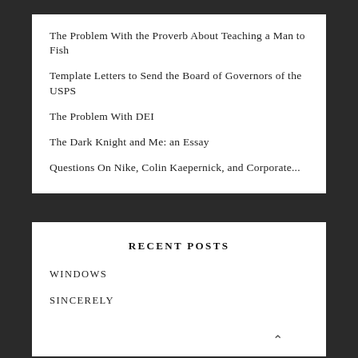The Problem With the Proverb About Teaching a Man to Fish
Template Letters to Send the Board of Governors of the USPS
The Problem With DEI
The Dark Knight and Me: an Essay
Questions On Nike, Colin Kaepernick, and Corporate...
RECENT POSTS
WINDOWS
SINCERELY